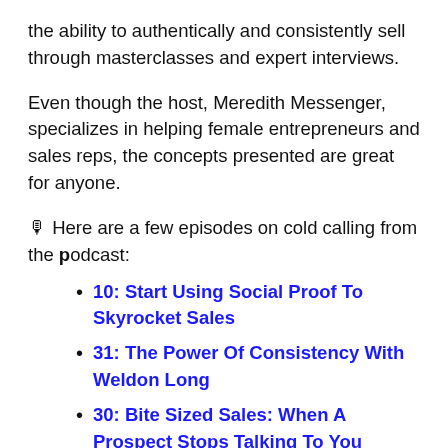the ability to authentically and consistently sell through masterclasses and expert interviews.
Even though the host, Meredith Messenger, specializes in helping female entrepreneurs and sales reps, the concepts presented are great for anyone.
🎙 Here are a few episodes on cold calling from the podcast:
10: Start Using Social Proof To Skyrocket Sales
31: The Power Of Consistency With Weldon Long
30: Bite Sized Sales: When A Prospect Stops Talking To You